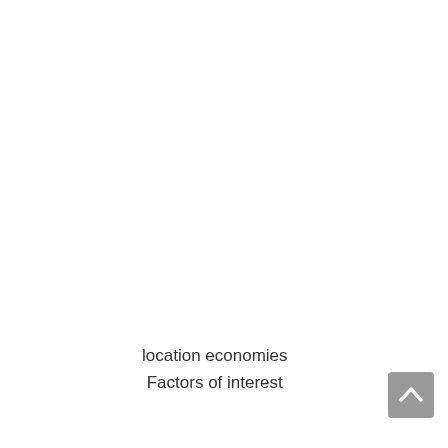location economies
Factors of interest
[Figure (other): Gray scroll-to-top button with upward chevron arrow in bottom-right corner]